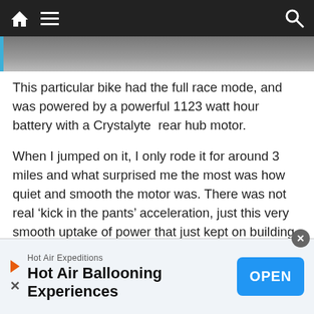Navigation bar with home, menu, and search icons
[Figure (photo): Partial photo visible at top of page, grey/dark tones]
This particular bike had the full race mode, and was powered by a powerful 1123 watt hour battery with a Crystalyte  rear hub motor.
When I jumped on it, I only rode it for around 3 miles and what surprised me the most was how quiet and smooth the motor was. There was not real ‘kick in the pants’ acceleration, just this very smooth uptake of power that just kept on building.
The riding position was incredibly comfortable and it felt like the kind of bike you could ride fo…
Hot Air Expeditions – Hot Air Ballooning Experiences – OPEN